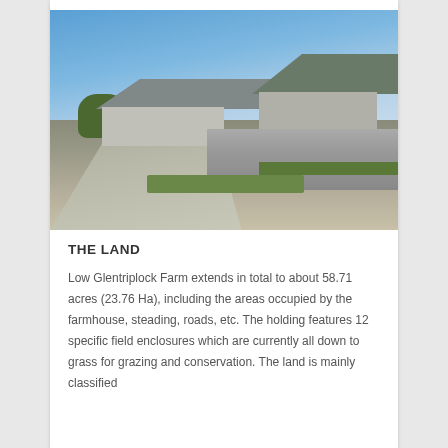[Figure (photo): Photograph of Low Glentriplock Farm showing a rural road curving past stone farm buildings with triangular roofs, a low dry-stone wall, green grass strips, and a blue sky with light clouds.]
THE LAND
Low Glentriplock Farm extends in total to about 58.71 acres (23.76 Ha), including the areas occupied by the farmhouse, steading, roads, etc. The holding features 12 specific field enclosures which are currently all down to grass for grazing and conservation. The land is mainly classified